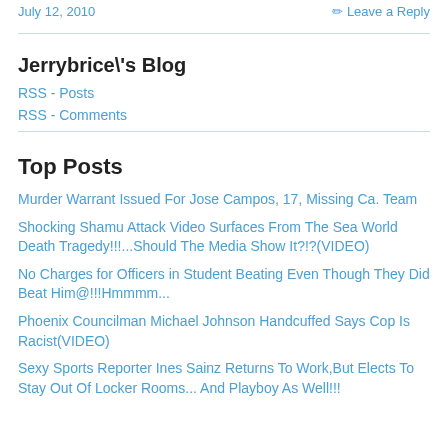July 12, 2010    ✏ Leave a Reply
Jerrybrice\'s Blog
RSS - Posts
RSS - Comments
Top Posts
Murder Warrant Issued For Jose Campos, 17, Missing Ca. Team
Shocking Shamu Attack Video Surfaces From The Sea World Death Tragedy!!!...Should The Media Show It?!?(VIDEO)
No Charges for Officers in Student Beating Even Though They Did Beat Him@!!!Hmmmm...
Phoenix Councilman Michael Johnson Handcuffed Says Cop Is Racist(VIDEO)
Sexy Sports Reporter Ines Sainz Returns To Work,But Elects To Stay Out Of Locker Rooms... And Playboy As Well!!!